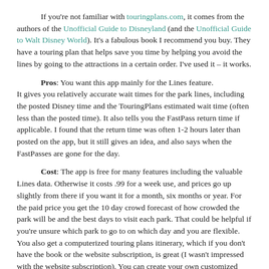If you're not familiar with touringplans.com, it comes from the authors of the Unofficial Guide to Disneyland (and the Unofficial Guide to Walt Disney World). It's a fabulous book I recommend you buy. They have a touring plan that helps save you time by helping you avoid the lines by going to the attractions in a certain order. I've used it – it works.
Pros: You want this app mainly for the Lines feature. It gives you relatively accurate wait times for the park lines, including the posted Disney time and the TouringPlans estimated wait time (often less than the posted time). It also tells you the FastPass return time if applicable. I found that the return time was often 1-2 hours later than posted on the app, but it still gives an idea, and also says when the FastPasses are gone for the day.
Cost: The app is free for many features including the valuable Lines data. Otherwise it costs .99 for a week use, and prices go up slightly from there if you want it for a month, six months or year. For the paid price you get the 10 day crowd forecast of how crowded the park will be and the best days to visit each park. That could be helpful if you're unsure which park to go to on which day and you are flexible. You also get a computerized touring plans itinerary, which if you don't have the book or the website subscription, is great (I wasn't impressed with the website subscription). You can create your own customized